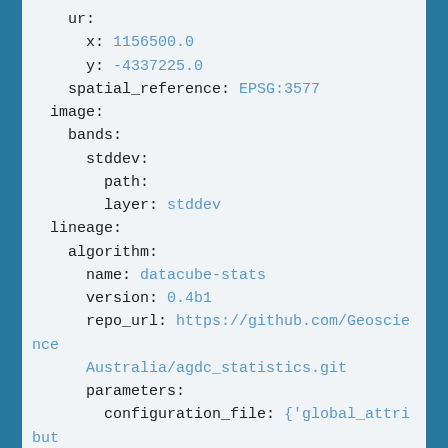ur:
    x: 1156500.0
    y: -4337225.0
  spatial_reference: EPSG:3577
image:
  bands:
    stddev:
      path:
      layer: stddev
lineage:
  algorithm:
    name: datacube-stats
    version: 0.4b1
    repo_url: https://github.com/GeoscienceAustralia/agdc_statistics.git
    parameters:
      configuration_file: {'global_attributes': {'title': 'ITEM'}, 'sources': [{'product': 'ls5_nbar_albers', 'name':